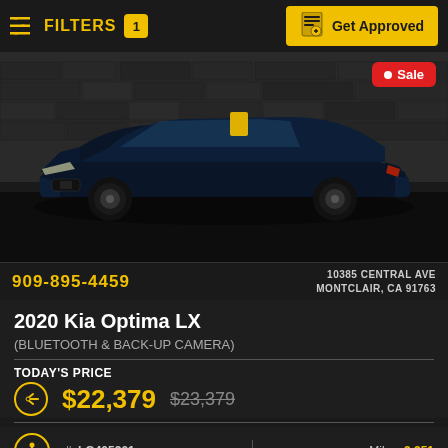FILTERS 1 | Get Approved
[Figure (photo): Dark navy blue 2020 Kia Optima LX sedan photographed front-facing against a textured stone wall background, with 'Sale' badge in top right corner]
909-895-4459   10385 CENTRAL AVE MONTCLAIR, CA 91763
2020 Kia Optima LX
(BLUETOOTH & BACK-UP CAMERA)
TODAY'S PRICE
$22,379  $23,379
Stock #: LG405201   Miles: 9,351